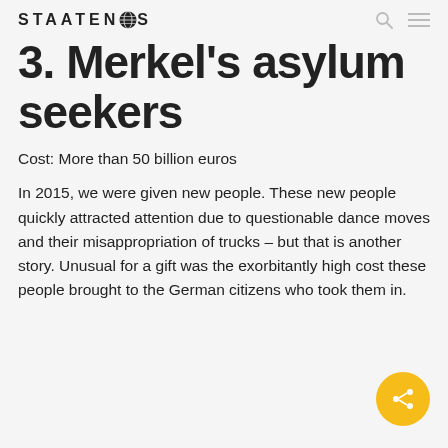STAATENLOS
3. Merkel's asylum seekers
Cost: More than 50 billion euros
In 2015, we were given new people. These new people quickly attracted attention due to questionable dance moves and their misappropriation of trucks – but that is another story. Unusual for a gift was the exorbitantly high cost these people brought to the German citizens who took them in.